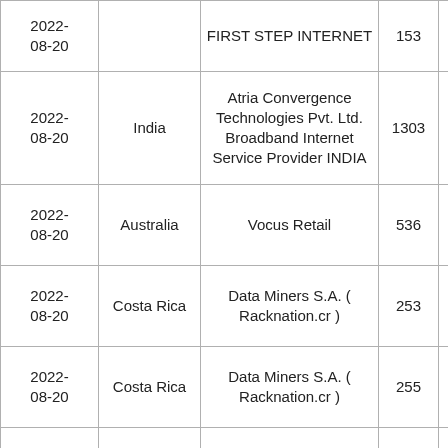| Date | Country | ISP/Organization | ASN |  |
| --- | --- | --- | --- | --- |
| 2022-08-20 |  | FIRST STEP INTERNET | 153 |  |
| 2022-08-20 | India | Atria Convergence Technologies Pvt. Ltd. Broadband Internet Service Provider INDIA | 1303 |  |
| 2022-08-20 | Australia | Vocus Retail | 536 |  |
| 2022-08-20 | Costa Rica | Data Miners S.A. ( Racknation.cr ) | 253 |  |
| 2022-08-20 | Costa Rica | Data Miners S.A. ( Racknation.cr ) | 255 |  |
| 2022-08-20 | Costa Rica | Data Miners S.A. ( Racknation.cr ) | 270 |  |
|  |  |  |  |  |